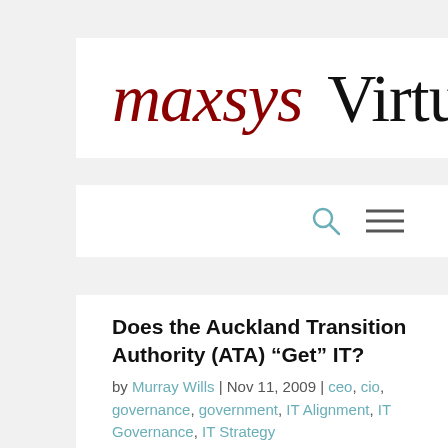[Figure (logo): maxsys Virtual C logo — 'maxsys' in dark red italic serif font, 'Virtual C' in black serif font, on white background]
[Figure (other): Navigation bar with search (magnifying glass) icon and hamburger menu icon on white background]
Does the Auckland Transition Authority (ATA) “Get” IT?
by Murray Wills | Nov 11, 2009 | ceo, cio, governance, government, IT Alignment, IT Governance, IT Strategy
Well, it doesn’t look like it!! If the following article is